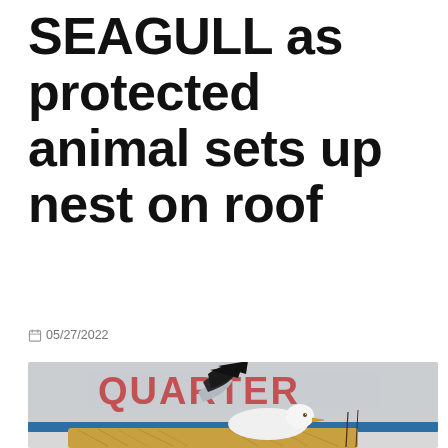SEAGULL as protected animal sets up nest on roof
05/27/2022
[Figure (photo): A seagull sitting on a nest made of straw on a rooftop, with a blurred sign reading 'QUARTER' in red letters in the background and a blue ledge visible.]